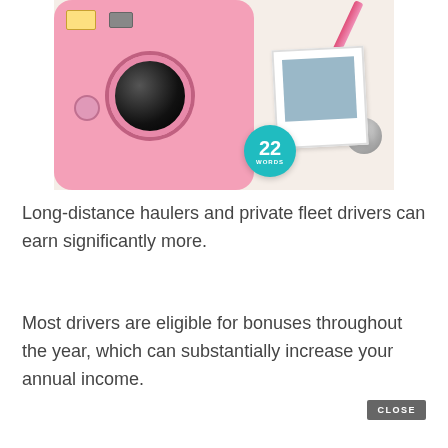[Figure (photo): Pink Fujifilm Instax Mini camera on a cream surface with a polaroid photo, pink pen, and silver accessories, with a '22 Words' teal circular badge overlay]
Long-distance haulers and private fleet drivers can earn significantly more.
Most drivers are eligible for bonuses throughout the year, which can substantially increase your annual income.